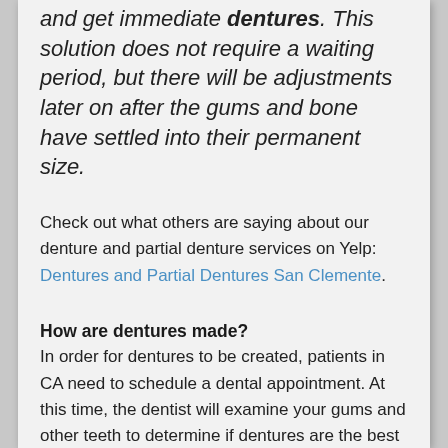throughout California prefer not to wait and get immediate dentures. This solution does not require a waiting period, but there will be adjustments later on after the gums and bone have settled into their permanent size.
Check out what others are saying about our denture and partial denture services on Yelp: Dentures and Partial Dentures San Clemente.
How are dentures made?
In order for dentures to be created, patients in CA need to schedule a dental appointment. At this time, the dentist will examine your gums and other teeth to determine if dentures are the best solution for you and if so, what type